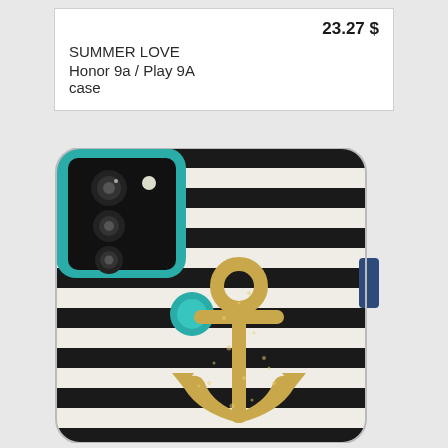23.27 $
SUMMER LOVE
Honor 9a / Play 9A case
[Figure (photo): Phone case for Honor 9a / Play 9A with black and white horizontal stripes pattern and a gold glitter anchor design. The case has teal colored camera surround and fingerprint sensor ring.]